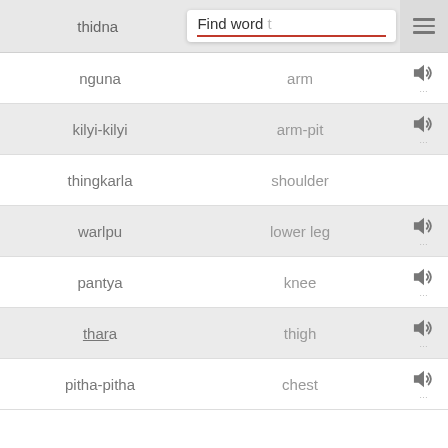thidna | Find word
nguna — arm
kilyi-kilyi — arm-pit
thingkarla — shoulder
warlpu — lower leg
pantya — knee
thara — thigh
pitha-pitha — chest